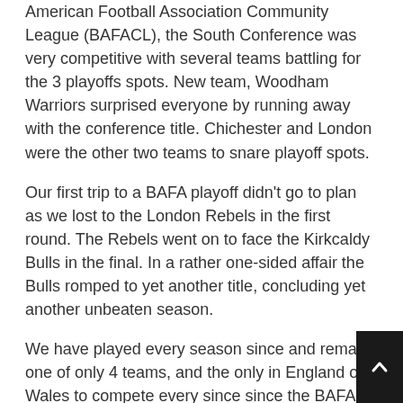American Football Association Community League (BAFACL), the South Conference was very competitive with several teams battling for the 3 playoffs spots. New team, Woodham Warriors surprised everyone by running away with the conference title. Chichester and London were the other two teams to snare playoff spots.
Our first trip to a BAFA playoff didn't go to plan as we lost to the London Rebels in the first round. The Rebels went on to face the Kirkcaldy Bulls in the final. In a rather one-sided affair the Bulls romped to yet another title, concluding yet another unbeaten season.
We have played every season since and remain one of only 4 teams, and the only in England or Wales to compete every since since the BAFA